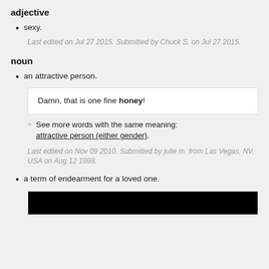adjective
sexy.
Last edited on Jul 27 2015. Submitted by Chuck S. on Jul 27 2015.
noun
an attractive person.
Damn, that is one fine honey!
See more words with the same meaning: attractive person (either gender).
Last edited on Nov 09 2010. Submitted by julie m. from Las Vegas, NV, USA on Aug 12 1998.
a term of endearment for a loved one.
[Figure (photo): Black image/redacted image at bottom of page]